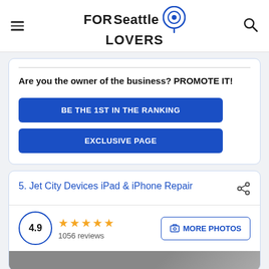FORSeattle LOVERS
Are you the owner of the business? PROMOTE IT!
BE THE 1ST IN THE RANKING
EXCLUSIVE PAGE
5. Jet City Devices iPad & iPhone Repair
4.9 ★★★★★ 1056 reviews
MORE PHOTOS